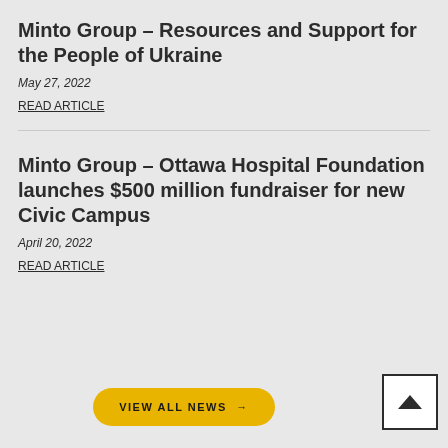Minto Group – Resources and Support for the People of Ukraine
May 27, 2022
READ ARTICLE
Minto Group – Ottawa Hospital Foundation launches $500 million fundraiser for new Civic Campus
April 20, 2022
READ ARTICLE
VIEW ALL NEWS →